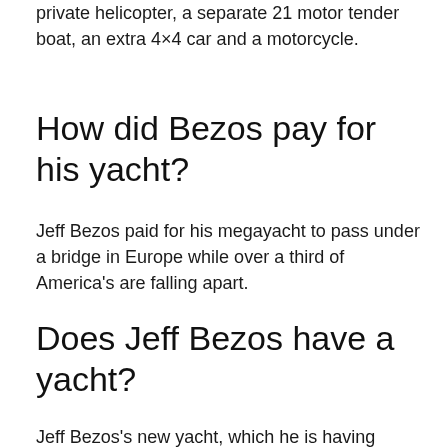private helicopter, a separate 21 motor tender boat, an extra 4×4 car and a motorcycle.
How did Bezos pay for his yacht?
Jeff Bezos paid for his megayacht to pass under a bridge in Europe while over a third of America's are falling apart.
Does Jeff Bezos have a yacht?
Jeff Bezos's new yacht, which he is having custom-made at the Oceanco shipyard in the Netherlands, will be the world's largest sailing yacht.